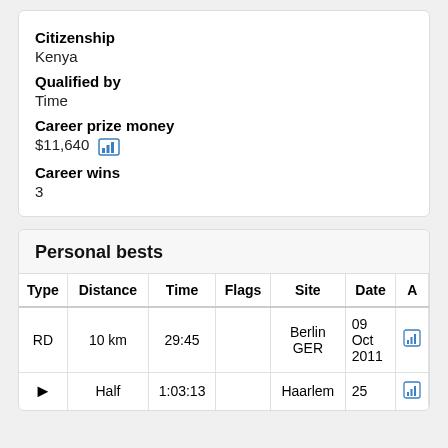Citizenship
Kenya
Qualified by
Time
Career prize money
$11,640
Career wins
3
Personal bests
| Type | Distance | Time | Flags | Site | Date | A |
| --- | --- | --- | --- | --- | --- | --- |
| RD | 10 km | 29:45 |  | Berlin GER | 09 Oct 2011 |  |
| ▶ | Half | 1:03:13 |  | Haarlem | 25 |  |